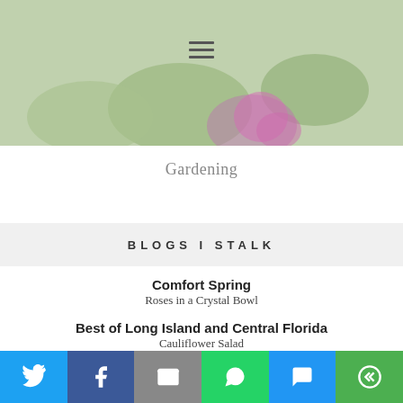[Figure (photo): Floral/garden photo with pink flowers and green leaves, with a hamburger menu icon overlay]
Gardening
BLOGS I STALK
Comfort Spring
Roses in a Crystal Bowl
Best of Long Island and Central Florida
Cauliflower Salad
The Welcomed Guest
Epiag "Moloya" Tablescape
Cloches & Lavender